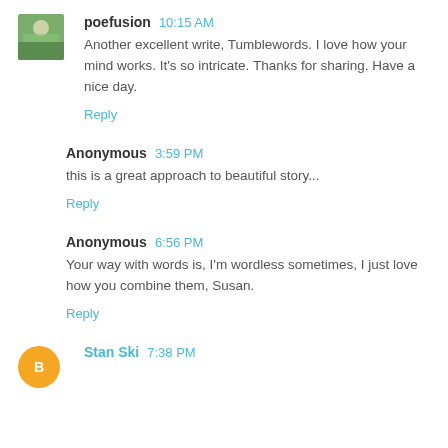poefusion  10:15 AM
Another excellent write, Tumblewords. I love how your mind works. It's so intricate. Thanks for sharing. Have a nice day.
Reply
Anonymous  3:59 PM
this is a great approach to beautiful story...
Reply
Anonymous  6:56 PM
Your way with words is, I'm wordless sometimes, I just love how you combine them, Susan.
Reply
Stan Ski  7:38 PM